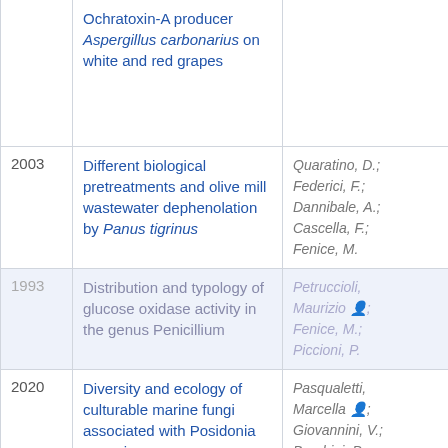| Year | Title | Authors |
| --- | --- | --- |
|  | Ochratoxin-A producer Aspergillus carbonarius on white and red grapes |  |
| 2003 | Different biological pretreatments and olive mill wastewater dephenolation by Panus tigrinus | Quaratino, D.; Federici, F.; Dannibale, A.; Cascella, F.; Fenice, M. |
| 1993 | Distribution and typology of glucose oxidase activity in the genus Penicillium | Petruccioli, Maurizio; Fenice, M.; Piccioni, P. |
| 2020 | Diversity and ecology of culturable marine fungi associated with Posidonia oceanica | Pasqualetti, Marcella; Giovannini, V.; Barghini, P.; |